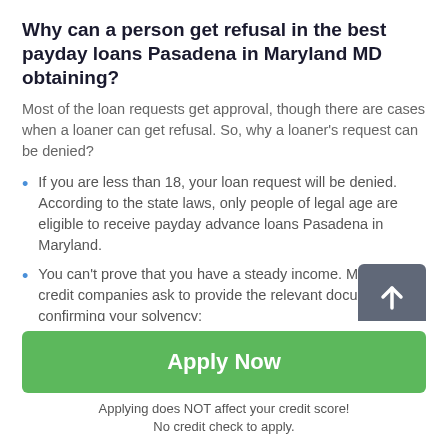Why can a person get refusal in the best payday loans Pasadena in Maryland MD obtaining?
Most of the loan requests get approval, though there are cases when a loaner can get refusal. So, why a loaner's request can be denied?
If you are less than 18, your loan request will be denied. According to the state laws, only people of legal age are eligible to receive payday advance loans Pasadena in Maryland.
You can't prove that you have a steady income. Most of the credit companies ask to provide the relevant document confirming your solvency;
[Figure (other): Green 'Apply Now' button]
Applying does NOT affect your credit score!
No credit check to apply.